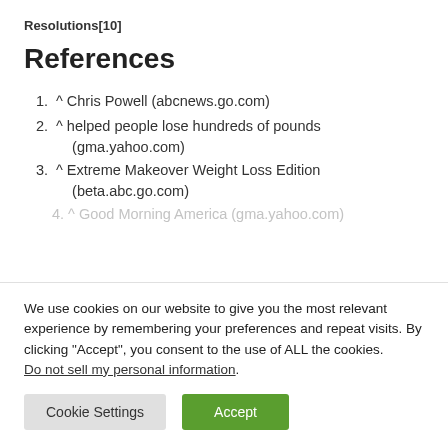Resolutions[10]
References
^ Chris Powell (abcnews.go.com)
^ helped people lose hundreds of pounds (gma.yahoo.com)
^ Extreme Makeover Weight Loss Edition (beta.abc.go.com)
^ Good Morning America (gma.yahoo.com)
We use cookies on our website to give you the most relevant experience by remembering your preferences and repeat visits. By clicking “Accept”, you consent to the use of ALL the cookies.
Do not sell my personal information.